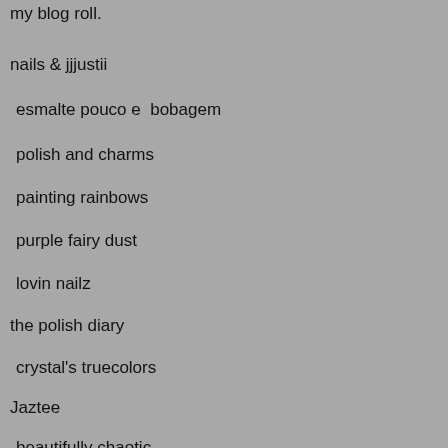my blog roll.
nails & jjjustii
esmalte pouco e  bobagem
polish and charms
painting rainbows
purple fairy dust
lovin nailz
the polish diary
crystal's truecolors
Jaztee
beautifully chaotic